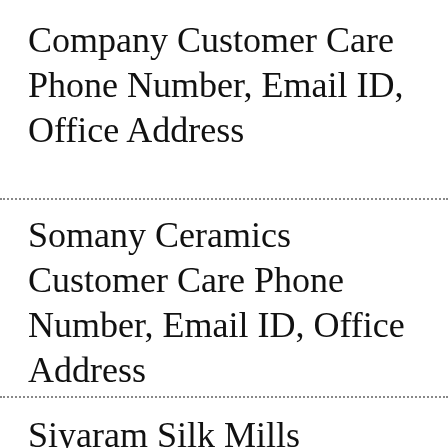Company Customer Care Phone Number, Email ID, Office Address
Somany Ceramics Customer Care Phone Number, Email ID, Office Address
Siyaram Silk Mills Customer